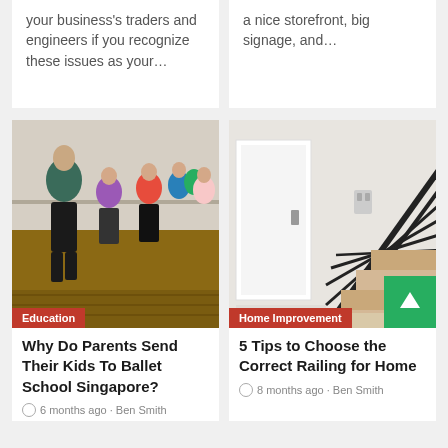your business's traders and engineers if you recognize these issues as your...
a nice storefront, big signage, and...
[Figure (photo): Children and instructor dancing in a ballet/dance class studio with wooden floors]
Education
Why Do Parents Send Their Kids To Ballet School Singapore?
6 months ago · Ben Smith
[Figure (photo): Modern home interior staircase with black metal railing and white walls]
Home Improvement
5 Tips to Choose the Correct Railing for Home
8 months ago · Ben Smith